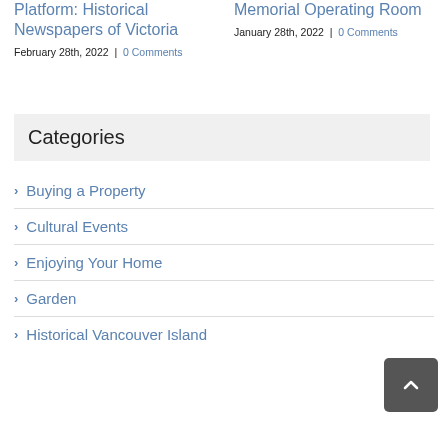Platform: Historical Newspapers of Victoria
February 28th, 2022  |  0 Comments
Memorial Operating Room
January 28th, 2022  |  0 Comments
Categories
Buying a Property
Cultural Events
Enjoying Your Home
Garden
Historical Vancouver Island